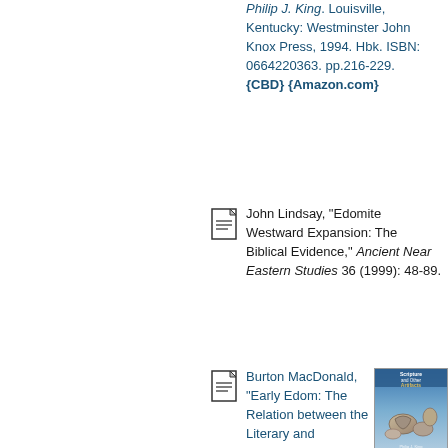Philip J. King. Louisville, Kentucky: Westminster John Knox Press, 1994. Hbk. ISBN: 0664220363. pp.216-229. {CBD} {Amazon.com}
[Figure (illustration): Document/page icon]
John Lindsay, "Edomite Westward Expansion: The Biblical Evidence," Ancient Near Eastern Studies 36 (1999): 48-89.
[Figure (illustration): Document/page icon]
Burton MacDonald, "Early Edom: The Relation between the Literary and Archaeological Evidence," Michael J. Coogan, J. Cheryl Exum & Lawrence E. Stager, editors. Scripture and Other Artifacts: Essays on the Bible and Archaeology in Honor of Philip J. King. Louisville, Kentucky: Westminster John Knox Press, 1994. Hbk. ISBN: 0664220363. pp.230-246. {CBD} {Amazon.com}
[Figure (photo): Book cover: Scripture and Other Artifacts]